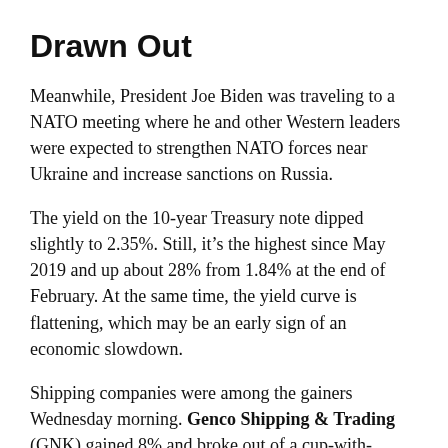Drawn Out
Meanwhile, President Joe Biden was traveling to a NATO meeting where he and other Western leaders were expected to strengthen NATO forces near Ukraine and increase sanctions on Russia.
The yield on the 10-year Treasury note dipped slightly to 2.35%. Still, it’s the highest since May 2019 and up about 28% from 1.84% at the end of February. At the same time, the yield curve is flattening, which may be an early sign of an economic slowdown.
Shipping companies were among the gainers Wednesday morning. Genco Shipping & Trading (GNK) gained 8% and broke out of a cup-with-handle base in heavy trading. The stock is already extended past its buy range from its 21.99 buy point, which goes up to 23.09.